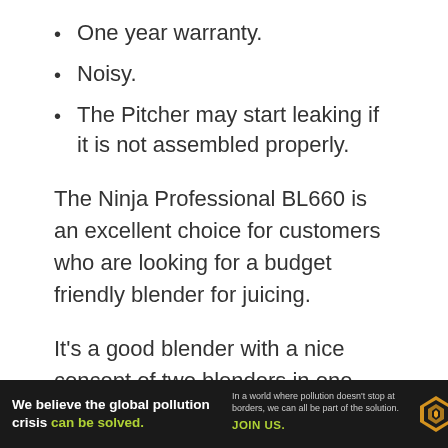One year warranty.
Noisy.
The Pitcher may start leaking if it is not assembled properly.
The Ninja Professional BL660 is an excellent choice for customers who are looking for a budget friendly blender for juicing.
It's a good blender with a nice concept of two blenders in one and it's quite easy to operate. It is a strong blender that can handle even hard-
[Figure (other): Advertisement banner for Pure Earth organization with text: 'We believe the global pollution crisis can be solved.' and 'In a world where pollution doesn't stop at borders, we can all be part of the solution. JOIN US.' with Pure Earth logo.]